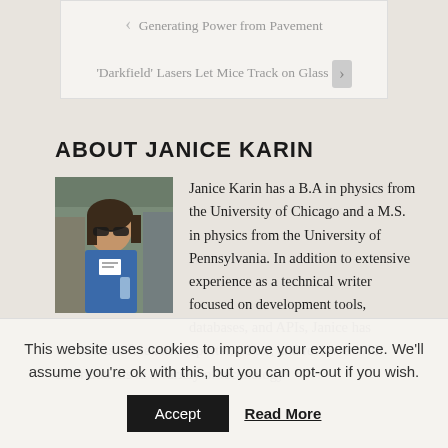< Generating Power from Pavement
'Darkfield' Lasers Let Mice Track on Glass >
ABOUT JANICE KARIN
[Figure (photo): Photo of Janice Karin wearing sunglasses at an event]
Janice Karin has a B.A in physics from the University of Chicago and a M.S. in physics from the University of Pennsylvania. In addition to extensive experience as a technical writer focused on development tools, databases, and APIs, Janice has worked as a freelance reporter, editor, and reviewer with contributions to a variety of technology
This website uses cookies to improve your experience. We'll assume you're ok with this, but you can opt-out if you wish. Accept Read More